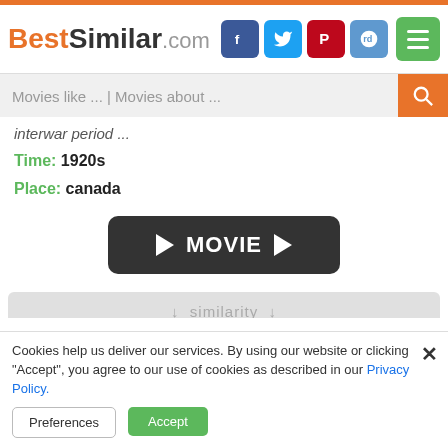BestSimilar.com
Movies like ... | Movies about ...
interwar period ...
Time: 1920s
Place: canada
[Figure (other): Dark rounded button with play arrows and MOVIE text]
↓ similarity ↓
[Figure (other): Yes thumbs-up button (green) and No thumbs-down button (red)]
Cookies help us deliver our services. By using our website or clicking "Accept", you agree to our use of cookies as described in our Privacy Policy.
Preferences
Accept